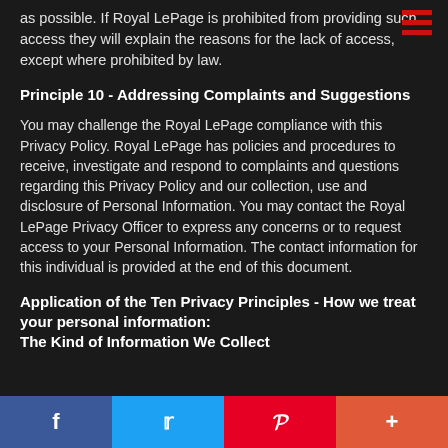as possible. If Royal LePage is prohibited from providing such access they will explain the reasons for the lack of access, except where prohibited by law.
Principle 10 - Addressing Complaints and Suggestions
You may challenge the Royal LePage compliance with this Privacy Policy. Royal LePage has policies and procedures to receive, investigate and respond to complaints and questions regarding this Privacy Policy and our collection, use and disclosure of Personal Information. You may contact the Royal LePage Privacy Officer to express any concerns or to request access to your Personal Information. The contact information for this individual is provided at the end of this document.
Application of the Ten Privacy Principles - How we treat your personal information: The Kind of Information We Collect
f  t  p  +